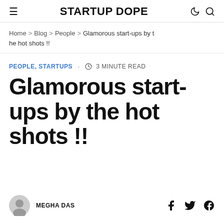STARTUP DOPE
Home > Blog > People > Glamorous start-ups by the hot shots !!
PEOPLE, STARTUPS · 3 MINUTE READ
Glamorous start-ups by the hot shots !!
MEGHA DAS